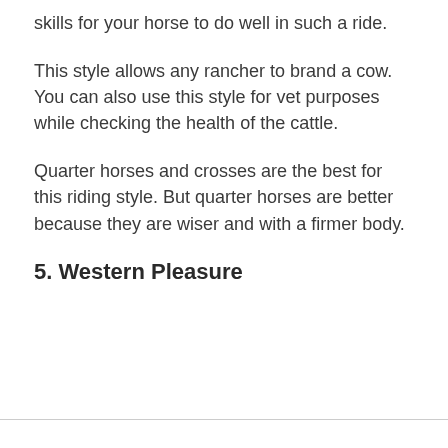skills for your horse to do well in such a ride.
This style allows any rancher to brand a cow. You can also use this style for vet purposes while checking the health of the cattle.
Quarter horses and crosses are the best for this riding style. But quarter horses are better because they are wiser and with a firmer body.
5. Western Pleasure